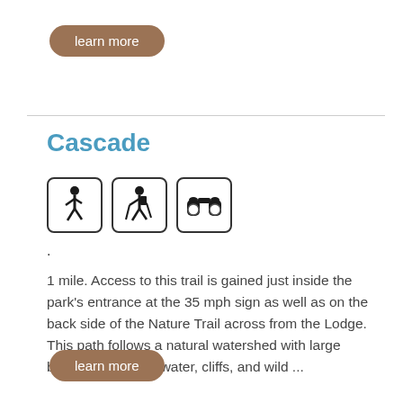learn more
Cascade
[Figure (illustration): Three icons in rounded square borders: a walking person, a hiking person with trekking poles, and binoculars]
.
1 mile. Access to this trail is gained just inside the park’s entrance at the 35 mph sign as well as on the back side of the Nature Trail across from the Lodge. This path follows a natural watershed with large boulders, pools of water, cliffs, and wild ...
learn more